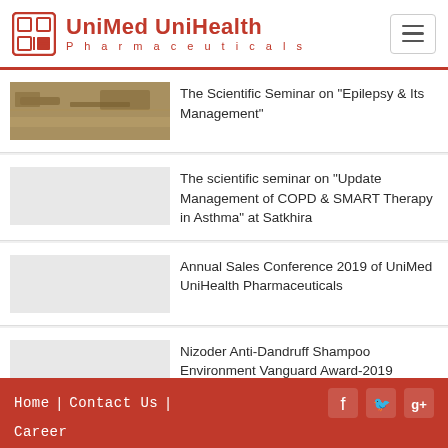UniMed UniHealth Pharmaceuticals
The Scientific Seminar on "Epilepsy & Its Management"
The scientific seminar on "Update Management of COPD & SMART Therapy in Asthma" at Satkhira
Annual Sales Conference 2019 of UniMed UniHealth Pharmaceuticals
Nizoder Anti-Dandruff Shampoo Environment Vanguard Award-2019
Home | Contact Us | Career